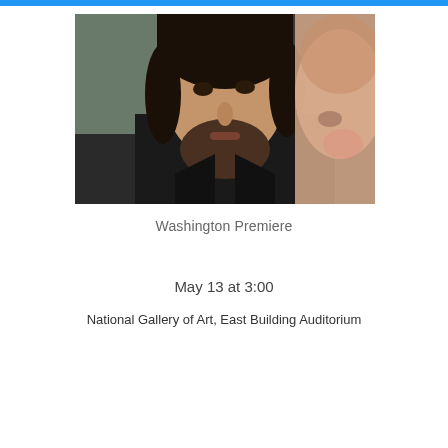[Figure (photo): Close-up photo of a young bearded man in a dark jacket looking at the camera, with a blurred female face visible on the right side of the frame.]
Washington Premiere
May 13 at 3:00
National Gallery of Art, East Building Auditorium